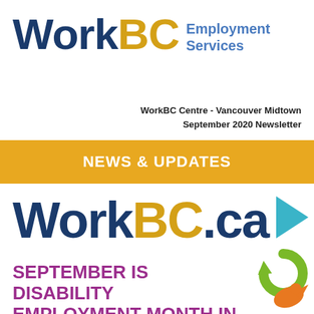[Figure (logo): WorkBC Employment Services logo with 'Work' in dark navy, 'BC' in gold/yellow, and 'Employment Services' in blue text to the right]
WorkBC Centre - Vancouver Midtown
September 2020 Newsletter
NEWS & UPDATES
[Figure (logo): WorkBC.ca logo with 'Work' in dark navy, 'BC' in gold, '.ca' in navy, alongside decorative colored arrow/icon shapes in teal, green, and orange. Below reads 'SEPTEMBER IS DISABILITY EMPLOYMENT MONTH IN B.C.' in purple/magenta bold text.]